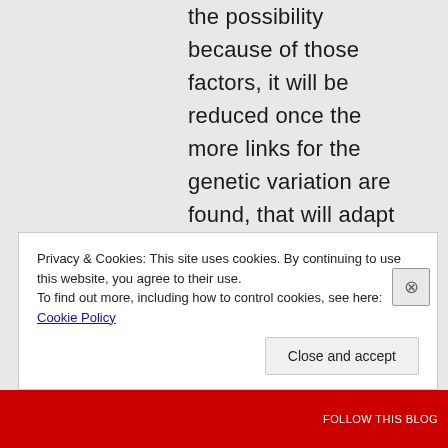the possibility because of those factors, it will be reduced once the more links for the genetic variation are found, that will adapt to the intelligence difference.

regardless it does seem it will hold so
Privacy & Cookies: This site uses cookies. By continuing to use this website, you agree to their use.
To find out more, including how to control cookies, see here: Cookie Policy
Close and accept